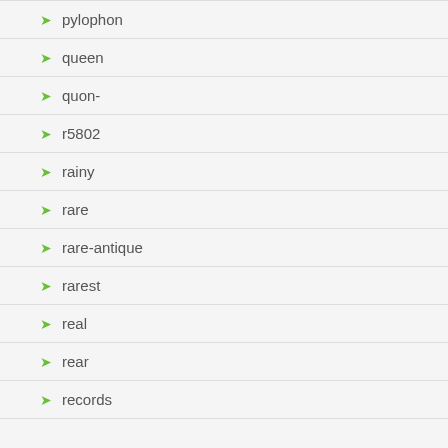pylophon
queen
quon-
r5802
rainy
rare
rare-antique
rarest
real
rear
records